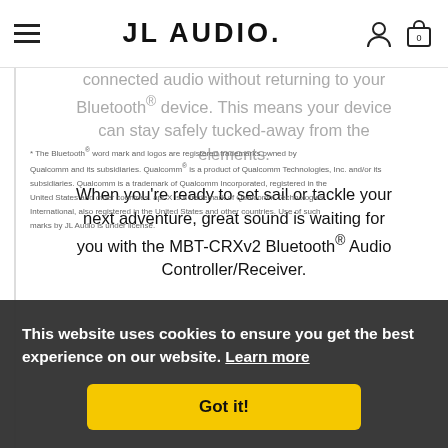JL AUDIO.
connected audio without returning to your Bluetooth® device. This means your device can stay safely tucked-away from the elements.
When you're ready to set sail or tackle your next adventure, great sound is waiting for you with the MBT-CRXv2 Bluetooth® Audio Controller/Receiver.
* The Bluetooth® word mark and logos are registered trademarks owned by Qualcomm and its subsidiaries. Qualcomm is a trademark of Qualcomm Incorporated, registered in the United States and other countries. apt-X is a trademark of Qualcomm Technologies International, also registered in the United States and other countries. Use of such marks by JL Audio is under license.
This website uses cookies to ensure you get the best experience on our website. Learn more
Got it!